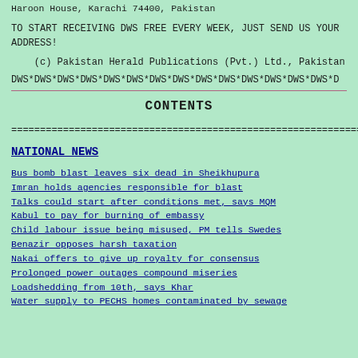Haroon House, Karachi 74400, Pakistan
TO START RECEIVING DWS FREE EVERY WEEK, JUST SEND US YOUR ADDRESS!
(c) Pakistan Herald Publications (Pvt.) Ltd., Pakistan
DWS*DWS*DWS*DWS*DWS*DWS*DWS*DWS*DWS*DWS*DWS*DWS*DWS*DWS*D
CONTENTS
================================================================
NATIONAL NEWS
Bus bomb blast leaves six dead in Sheikhupura
Imran holds agencies responsible for blast
Talks could start after conditions met, says MQM
Kabul to pay for burning of embassy
Child labour issue being misused, PM tells Swedes
Benazir opposes harsh taxation
Nakai offers to give up royalty for consensus
Prolonged power outages compound miseries
Loadshedding from 10th, says Khar
Water supply to PECHS homes contaminated by sewage